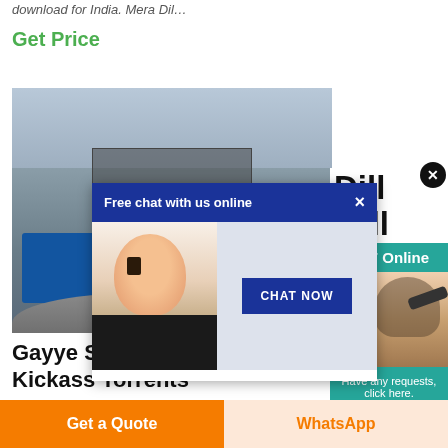download for India. Mera Dil…
Get Price
[Figure (photo): Industrial stone crushing machinery at an outdoor site]
[Figure (screenshot): Chat popup overlay with 'Free chat with us online' header, customer service agent photo, and 'CHAT NOW' button]
[Figure (infographic): Right-side teal panel with '24/7 Online' text, person using phone image, 'Have any requests, click here.' text, and Quotation button]
Gayye Season 1 Complete Ch Kickass Torrents
Aug 12, 2013 … Download Dill Mill Gayye Season…
Get a Quote
WhatsApp